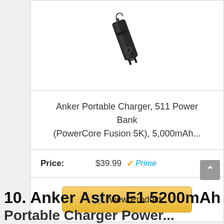[Figure (photo): Anker 511 Power Bank portable charger product image on white background, shown at an angle]
Anker Portable Charger, 511 Power Bank (PowerCore Fusion 5K), 5,000mAh...
Price: $39.99 Prime
View Product
10. Anker Astro E1 5200mAh Portable Charger Power...